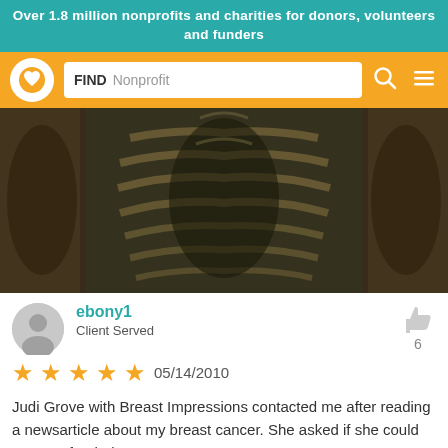Over 1.8 million nonprofits and charities for donors, volunteers and funders
[Figure (screenshot): Navigation bar with logo (heart in circle), search box showing 'FIND Nonprofit', search icon, and hamburger menu icon on orange background]
[Figure (photo): Close-up photo of a person's torso showing elaborate dark tattoo artwork resembling a skeleton/ribcage pattern]
ebony1
Client Served
★★★★★ 05/14/2010
Judi Grove with Breast Impressions contacted me after reading a newsarticle about my breast cancer. She asked if she could cast me for their